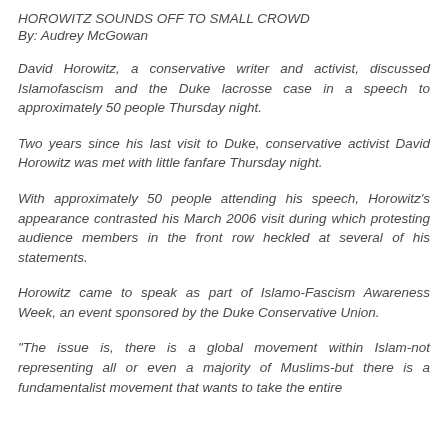HOROWITZ SOUNDS OFF TO SMALL CROWD
By: Audrey McGowan
David Horowitz, a conservative writer and activist, discussed Islamofascism and the Duke lacrosse case in a speech to approximately 50 people Thursday night.
Two years since his last visit to Duke, conservative activist David Horowitz was met with little fanfare Thursday night.
With approximately 50 people attending his speech, Horowitz's appearance contrasted his March 2006 visit during which protesting audience members in the front row heckled at several of his statements.
Horowitz came to speak as part of Islamo-Fascism Awareness Week, an event sponsored by the Duke Conservative Union.
"The issue is, there is a global movement within Islam-not representing all or even a majority of Muslims-but there is a fundamentalist movement that wants to take the entire